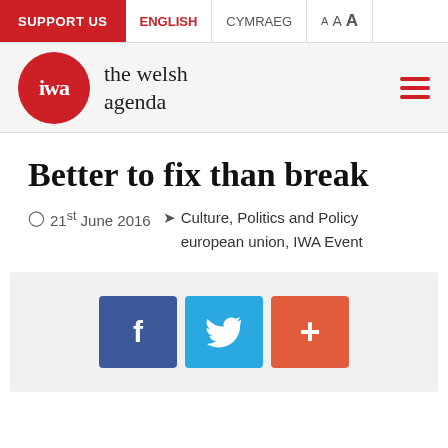SUPPORT US | ENGLISH | CYMRAEG | A A A
[Figure (logo): IWA - the welsh agenda logo: red circle with 'iwa' text in white, followed by 'the welsh agenda' in serif font]
Better to fix than break
21st June 2016  Culture, Politics and Policy european union, IWA Event
[Figure (infographic): Social share buttons: Facebook (blue), Twitter (light blue), and a red plus/share button]